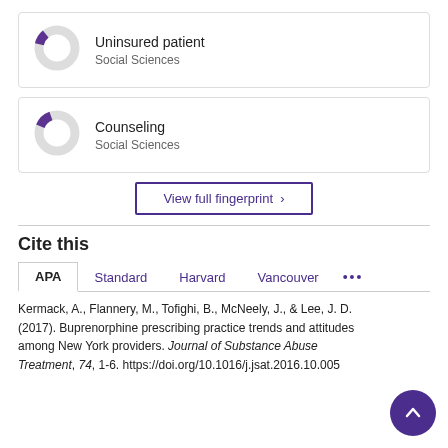[Figure (donut-chart): Small donut chart with purple segment, Social Sciences category]
Uninsured patient
Social Sciences
[Figure (donut-chart): Small donut chart with purple segment, Social Sciences category]
Counseling
Social Sciences
View full fingerprint >
Cite this
APA	Standard	Harvard	Vancouver	...
Kermack, A., Flannery, M., Tofighi, B., McNeely, J., & Lee, J. D. (2017). Buprenorphine prescribing practice trends and attitudes among New York providers. Journal of Substance Abuse Treatment, 74, 1-6. https://doi.org/10.1016/j.jsat.2016.10.005